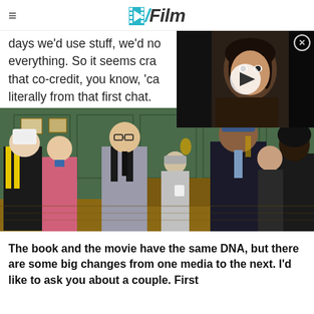/Film
days we'd use stuff, we'd no everything. So it seems cra that co-credit, you know, 'ca literally from that first chat.
[Figure (screenshot): Video player thumbnail showing a person with curly hair, with a play button overlay and close button]
[Figure (photo): Movie still from Kingsman showing several characters standing in a formal room with green walls]
The book and the movie have the same DNA, but there are some big changes from one media to the next. I'd like to ask you about a couple. First